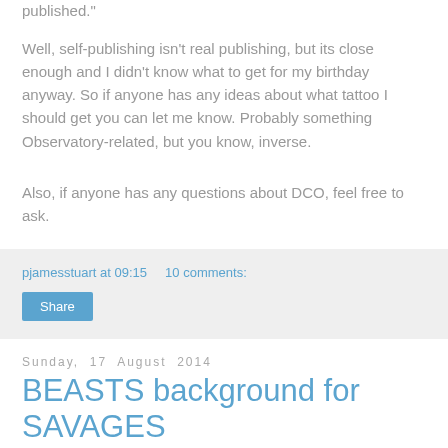published."
Well, self-publishing isn't real publishing, but its close enough and I didn't know what to get for my birthday anyway. So if anyone has any ideas about what tattoo I should get you can let me know. Probably something Observatory-related, but you know, inverse.
Also, if anyone has any questions about DCO, feel free to ask.
pjamesstuart at 09:15     10 comments:
Share
Sunday, 17 August 2014
BEASTS background for SAVAGES
BEASTS